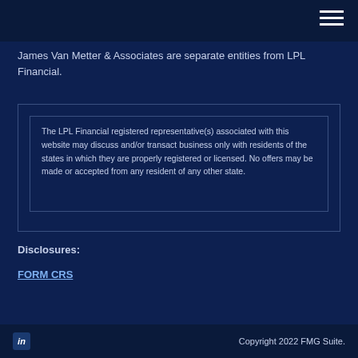James Van Metter & Associates are separate entities from LPL Financial.
The LPL Financial registered representative(s) associated with this website may discuss and/or transact business only with residents of the states in which they are properly registered or licensed. No offers may be made or accepted from any resident of any other state.
Disclosures:
FORM CRS
Copyright 2022 FMG Suite.